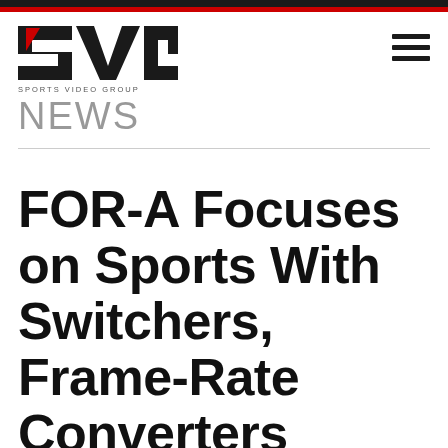SVG Sports Video Group NEWS
FOR-A Focuses on Sports With Switchers, Frame-Rate Converters